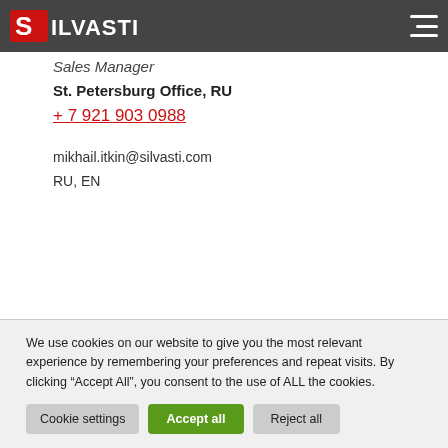[Figure (logo): Silvasti company logo with red S emblem and white SILVASTI text on dark nav bar background]
Mikhail Itkin
Sales Manager
St. Petersburg Office, RU
+ 7 921 903 0988
mikhail.itkin@silvasti.com
RU, EN
We use cookies on our website to give you the most relevant experience by remembering your preferences and repeat visits. By clicking “Accept All”, you consent to the use of ALL the cookies.